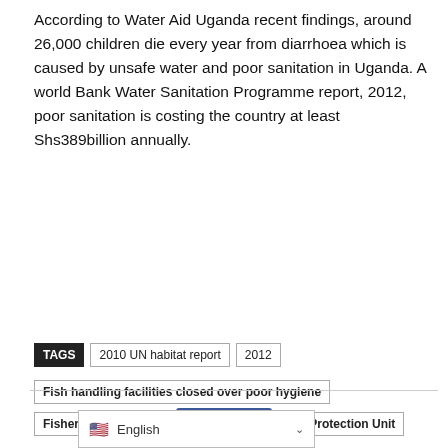According to Water Aid Uganda recent findings, around 26,000 children die every year from diarrhoea which is caused by unsafe water and poor sanitation in Uganda. A world Bank Water Sanitation Programme report, 2012, poor sanitation is costing the country at least Shs389billion annually.
TAGS: 2010 UN habitat report | 2012 | Fish handling facilities closed over poor hygiene | Fisheries and Animal Husbandry | Fisheries Protection Unit | Gross Domestic Product | Ministry of Agriculture | world Bank Water Sanitation Programme report
[Figure (screenshot): Social sharing buttons: Like 0 (Facebook), share icon, Facebook, Twitter, Google+, Pinterest, WhatsApp, LinkedIn, WhatsApp large icon]
English (language selector dropdown)